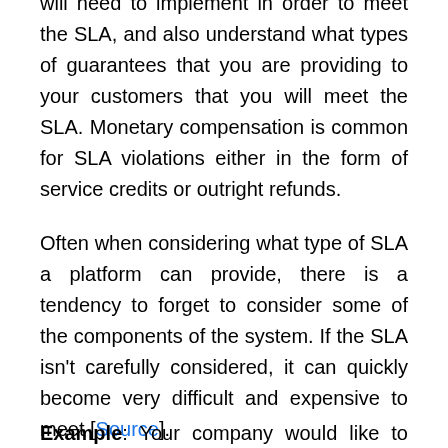will need to implement in order to meet the SLA, and also understand what types of guarantees that you are providing to your customers that you will meet the SLA. Monetary compensation is common for SLA violations either in the form of service credits or outright refunds.
Often when considering what type of SLA a platform can provide, there is a tendency to forget to consider some of the components of the system. If the SLA isn't carefully considered, it can quickly become very difficult and expensive to meet [Source].
Example: Your company would like to offer a